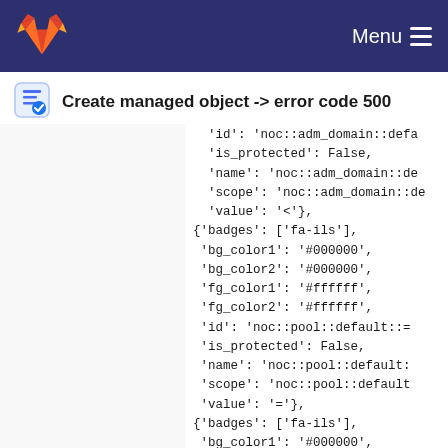Menu
Create managed object -> error code 500
'id': 'noc::adm_domain::defa
'is_protected': False,
'name': 'noc::adm_domain::de
'scope': 'noc::adm_domain::de
'value': '<'},
{'badges': ['fa-ils'],
 'bg_color1': '#000000',
 'bg_color2': '#000000',
 'fg_color1': '#ffffff',
 'fg_color2': '#ffffff',
 'id': 'noc::pool::default::=
 'is_protected': False,
 'name': 'noc::pool::default:
 'scope': 'noc::pool::default
 'value': '='},
{'badges': ['fa-ils'],
 'bg_color1': '#000000',
 'bg_color2': '#000000',